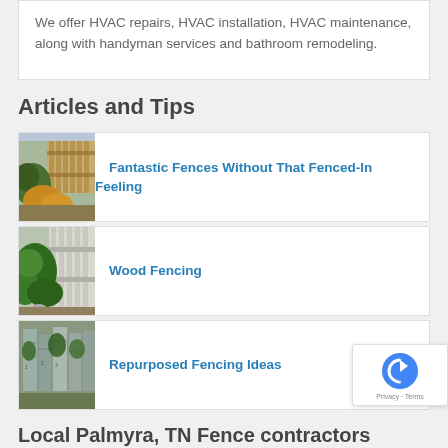We offer HVAC repairs, HVAC installation, HVAC maintenance, along with handyman services and bathroom remodeling.
Articles and Tips
[Figure (photo): Garden with fence and yellow shrubs]
Fantastic Fences Without That Fenced-In Feeling
[Figure (photo): Green bushes against a white wooden fence]
Wood Fencing
[Figure (photo): Repurposed wooden fence posts with plants]
Repurposed Fencing Ideas
Local Palmyra, TN Fence contractors